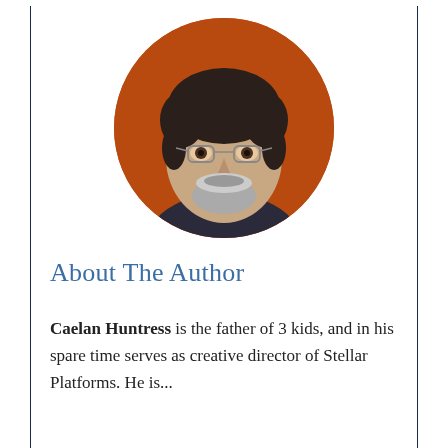[Figure (photo): Circular portrait photo of a smiling man with glasses, dark hair, and a beard/goatee, wearing a dark t-shirt against a warm brown/orange wooden background.]
About The Author
Caelan Huntress is the father of 3 kids, and in his spare time serves as creative director of Stellar Platforms. He is...